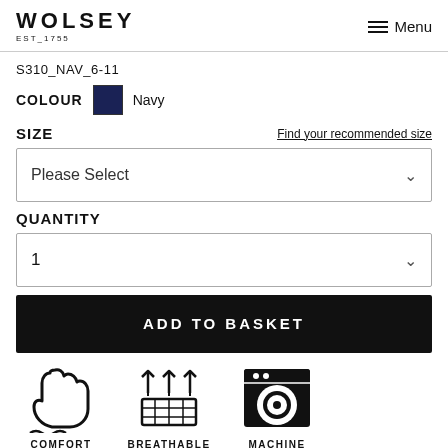WOLSEY EST_1755 Menu
S310_NAV_6-11
COLOUR  Navy
SIZE    Find your recommended size
Please Select
QUANTITY
1
ADD TO BASKET
[Figure (illustration): Three product feature icons: COMFORT (hand with waves), BREATHABLE (arrows pointing upward through a grid), MACHINE (washing machine)]